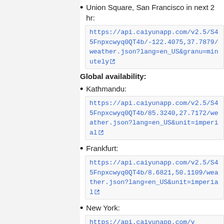Union Square, San Francisco in next 2 hr: https://api.caiyunapp.com/v2.5/S45Fnpxcwyq0QT4b/-122.4075,37.7879/weather.json?lang=en_US&granu=minutely
Global availability:
Kathmandu: https://api.caiyunapp.com/v2.5/S45Fnpxcwyq0QT4b/85.3240,27.7172/weather.json?lang=en_US&unit=imperial
Frankfurt: https://api.caiyunapp.com/v2.5/S45Fnpxcwyq0QT4b/8.6821,50.1109/weather.json?lang=en_US&unit=imperial
New York: https://api.caiyunapp.com/v